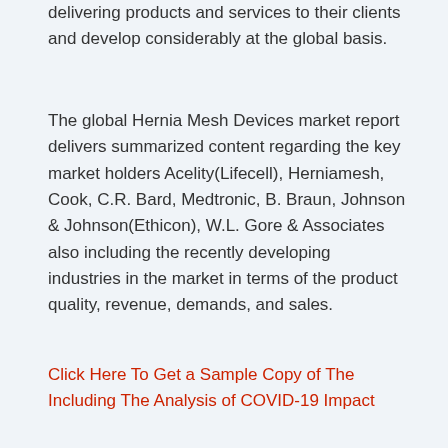delivering products and services to their clients and develop considerably at the global basis.
The global Hernia Mesh Devices market report delivers summarized content regarding the key market holders Acelity(Lifecell), Herniamesh, Cook, C.R. Bard, Medtronic, B. Braun, Johnson & Johnson(Ethicon), W.L. Gore & Associates also including the recently developing industries in the market in terms of the product quality, revenue, demands, and sales.
Click Here To Get a Sample Copy of The Including The Analysis of COVID-19 Impact